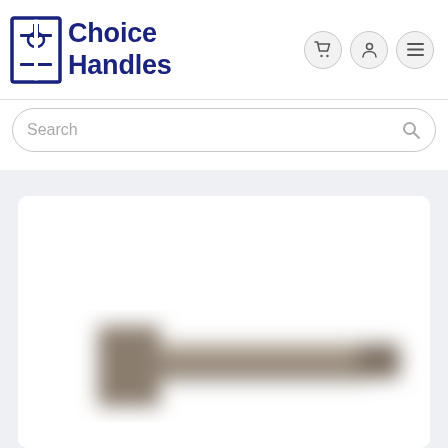[Figure (logo): Choice Handles logo with square/cross icon and bold navy text]
[Figure (screenshot): Navigation icons: shopping cart, user account, hamburger menu — circular button style]
Search
[Figure (photo): Blurred product photo of a door handle lever in brushed bronze/nickel finish on a white background]